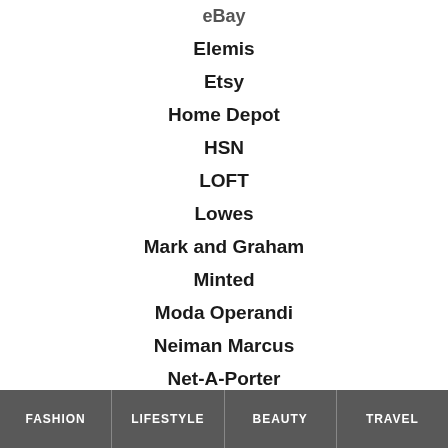eBay
Elemis
Etsy
Home Depot
HSN
LOFT
Lowes
Mark and Graham
Minted
Moda Operandi
Neiman Marcus
Net-A-Porter
Nordstrom
One Kings Lane
O-Venture
FASHION   LIFESTYLE   BEAUTY   TRAVEL